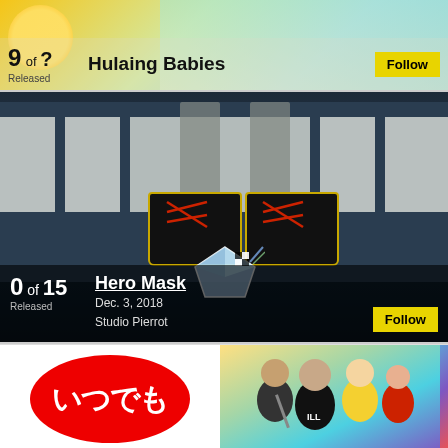[Figure (screenshot): Top card showing anime entry 'Hulaing Babies', 9 of ? episodes, Released, with Follow button]
9 of ? Hulaing Babies Released Follow
[Figure (screenshot): Middle card showing anime 'Hero Mask' with crosswalk scene, 0 of 15 episodes, Released Dec. 3, 2018, Studio Pierrot, with Follow button]
0 of 15 Hero Mask Released Dec. 3, 2018 Studio Pierrot Follow
[Figure (screenshot): Bottom strip showing two anime thumbnails: Japanese text logo on left, anime group illustration on right]